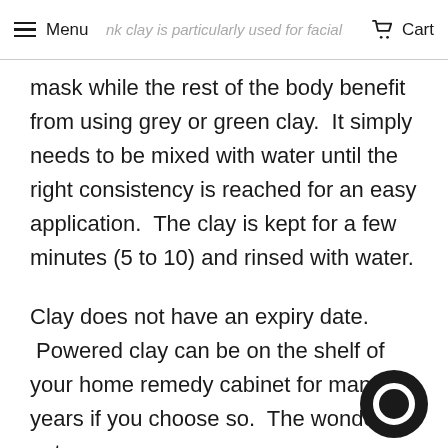Menu | pink clay is particularly used for facial | Cart
mask while the rest of the body benefit from using grey or green clay.  It simply needs to be mixed with water until the right consistency is reached for an easy application.  The clay is kept for a few minutes (5 to 10) and rinsed with water.
Clay does not have an expiry date.  Powered clay can be on the shelf of your home remedy cabinet for many years if you choose so.  The wonder of nature.
Back to the allergic reaction.  The skin